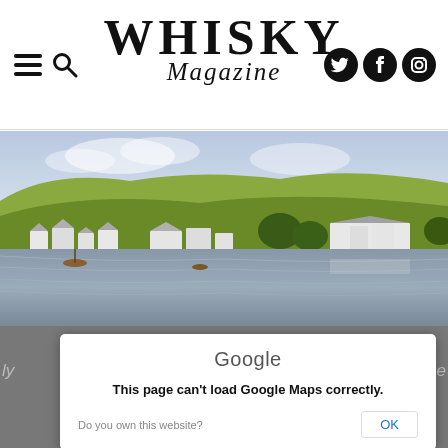Whisky Magazine — navigation header with hamburger menu, search icon, and social icons (Twitter, Facebook, Instagram)
WHISKY Magazine
[Figure (photo): Panoramic landscape photo of a Scottish village and distillery beside a loch, with green hills in the background]
[Figure (screenshot): Google Maps error dialog: 'Google' logo at top, text 'This page can't load Google Maps correctly.', and at bottom 'Do you own this website?' with an OK button]
Google
This page can't load Google Maps correctly.
Do you own this website?
OK